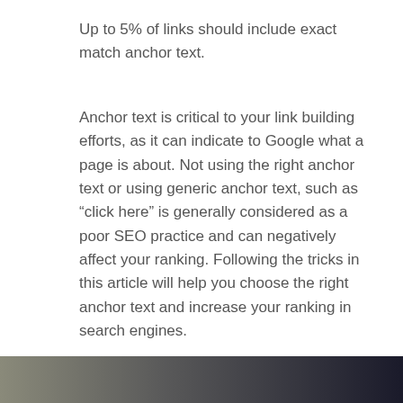Up to 5% of links should include exact match anchor text.
Anchor text is critical to your link building efforts, as it can indicate to Google what a page is about. Not using the right anchor text or using generic anchor text, such as “click here” is generally considered as a poor SEO practice and can negatively affect your ranking. Following the tricks in this article will help you choose the right anchor text and increase your ranking in search engines.
[Figure (photo): Dark gradient photograph strip visible at the bottom of the page]